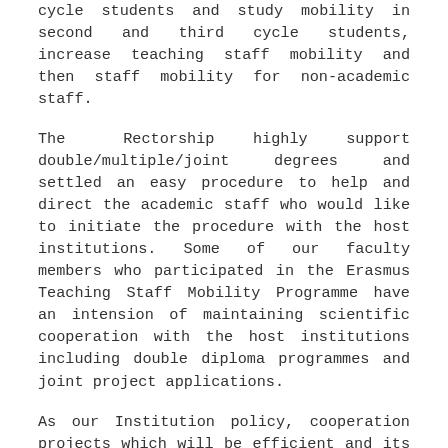cycle students and study mobility in second and third cycle students, increase teaching staff mobility and then staff mobility for non-academic staff.
The Rectorship highly support double/multiple/joint degrees and settled an easy procedure to help and direct the academic staff who would like to initiate the procedure with the host institutions. Some of our faculty members who participated in the Erasmus Teaching Staff Mobility Programme have an intension of maintaining scientific cooperation with the host institutions including double diploma programmes and joint project applications.
As our Institution policy, cooperation projects which will be efficient and its results may enable sustainable further cooperation has been supported and in